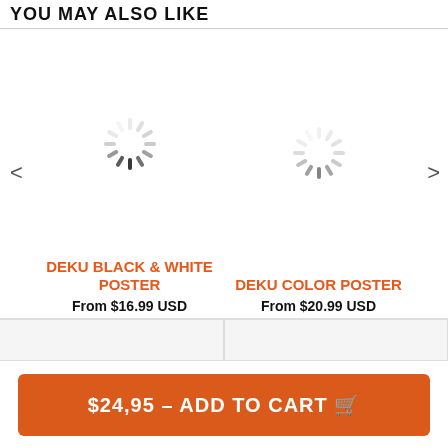YOU MAY ALSO LIKE
[Figure (illustration): Loading spinner icon (gray dashed circle) representing a product image placeholder for DEKU BLACK & WHITE POSTER]
DEKU BLACK & WHITE POSTER
From $16.99 USD
[Figure (illustration): Loading spinner icon (gray dashed circle) representing a product image placeholder for DEKU COLOR POSTER]
DEKU COLOR POSTER
From $20.99 USD
$24,95 – ADD TO CART 🛒